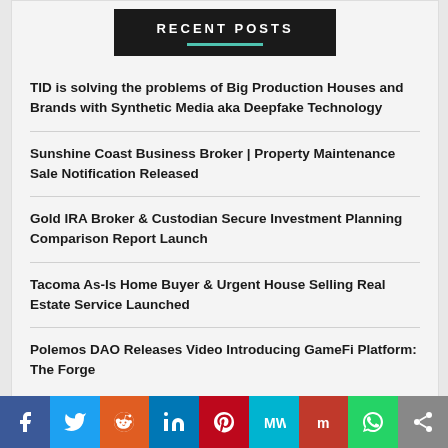RECENT POSTS
TID is solving the problems of Big Production Houses and Brands with Synthetic Media aka Deepfake Technology
Sunshine Coast Business Broker | Property Maintenance Sale Notification Released
Gold IRA Broker & Custodian Secure Investment Planning Comparison Report Launch
Tacoma As-Is Home Buyer & Urgent House Selling Real Estate Service Launched
Polemos DAO Releases Video Introducing GameFi Platform: The Forge